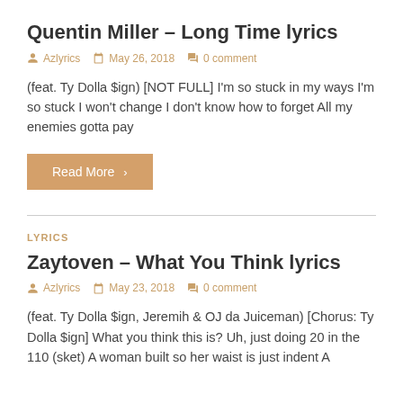Quentin Miller – Long Time lyrics
Azlyrics   May 26, 2018   0 comment
(feat. Ty Dolla $ign) [NOT FULL] I'm so stuck in my ways I'm so stuck I won't change I don't know how to forget All my enemies gotta pay
Read More ›
LYRICS
Zaytoven – What You Think lyrics
Azlyrics   May 23, 2018   0 comment
(feat. Ty Dolla $ign, Jeremih & OJ da Juiceman) [Chorus: Ty Dolla $ign] What you think this is? Uh, just doing 20 in the 110 (sket) A woman built so her waist is just indent A